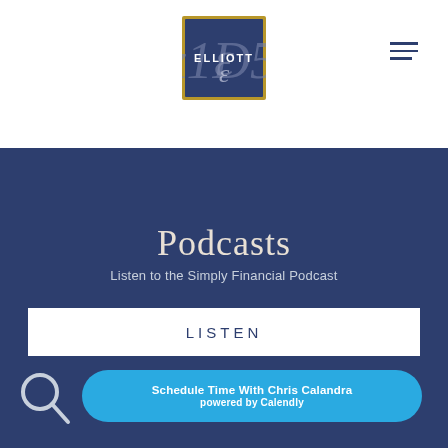[Figure (logo): Elliott financial advisory logo — dark navy blue square with stylized cursive E and ELLIOTT text in white]
[Figure (other): Hamburger menu icon (three horizontal lines)]
Podcasts
Listen to the Simply Financial Podcast
LISTEN
Schedule Time With Chris Calandra
powered by Calendly